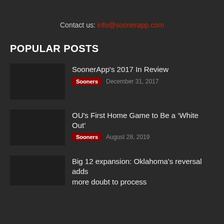Contact us: info@soonerapp.com
POPULAR POSTS
SoonerApp's 2017 In Review
Sooners  December 31, 2017
OU's First Home Game to Be a ‘White Out’
Sooners  August 28, 2019
Big 12 expansion: Oklahoma's reversal adds more doubt to process